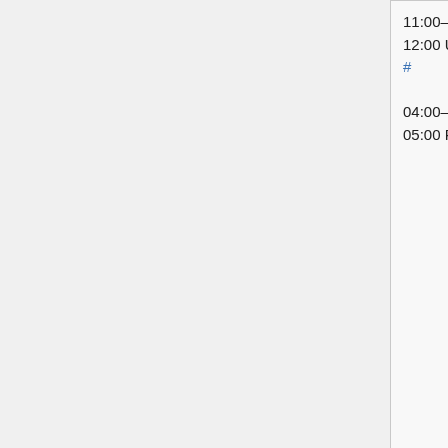| Time | Event | People |
| --- | --- | --- |
| 11:00–12:00 UTC #
04:00–05:00 PDT | European Mid-day SWAT (Max 6 patches) | Amir (Amir...
(Lucas_WM...
Adam (awi...
Martin (Urb... |
| 15:00–16:00 UTC #
08:00–09:00 PDT | Enable new DiscussionTools beta feature | James_F |
|  |  |  |